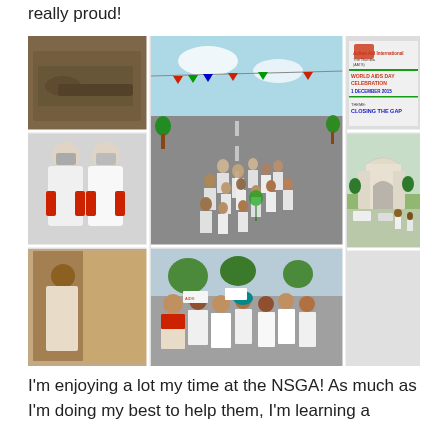really proud!
[Figure (photo): Collage of 6 photos showing World AIDS Day celebration activities in The Gambia: a patient lying on a bed, two people in white hazmat suits with red gloves, a long march/parade of people in white shirts down a street with banners, a World AIDS Day banner (Action Aid International, The Gambia, AATG, WORLD AIDS DAY CELEBRATION, 1 DECEMBER 2015, THEME: CLOSING THE GAP), a monument/arch building, a woman in traditional dress, marching participants in white shirts, and people standing outside near a building.]
I'm enjoying a lot my time at the NSGA! As much as I'm doing my best to help them, I'm learning a